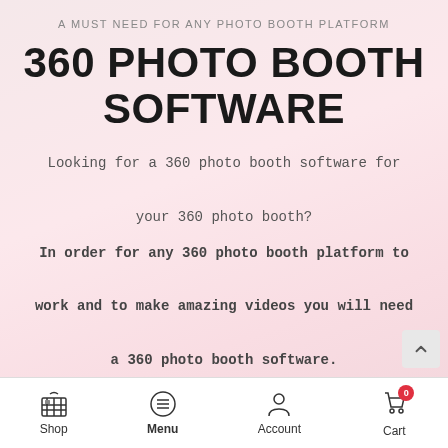A MUST NEED FOR ANY PHOTO BOOTH PLATFORM
360 PHOTO BOOTH SOFTWARE
Looking for a 360 photo booth software for your 360 photo booth?
In order for any 360 photo booth platform to work and to make amazing videos you will need a 360 photo booth software.
Shop  Menu  Account  Cart